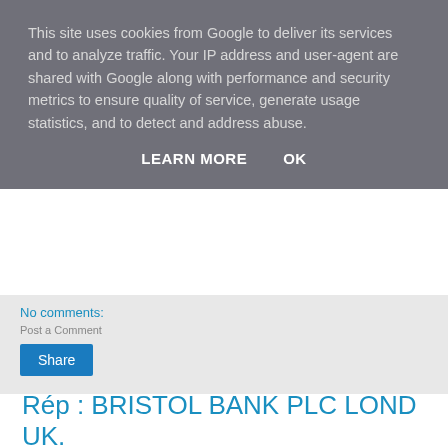This site uses cookies from Google to deliver its services and to analyze traffic. Your IP address and user-agent are shared with Google along with performance and security metrics to ensure quality of service, generate usage statistics, and to detect and address abuse.
LEARN MORE   OK
No comments:
Post a Comment
Share
Rép : BRISTOL BANK PLC LOND UK.
Dear Beneficiary
I am Mr Emmanuel Johnson of Bristol Bank of England (BBP).There is counter claims on your funds presently by one Mrs.Anita J.Son, who is trying to make us believe that you are dead and even explained that you had an agreement with her after presenting some documents to us purporting that you instructed her to claim your funds on your behalf. t